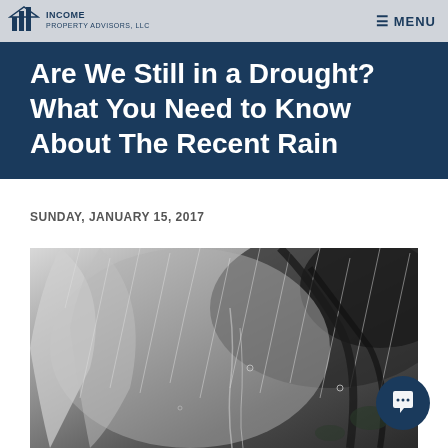INCOME | ≡ MENU
Are We Still in a Drought? What You Need to Know About The Recent Rain
SUNDAY, JANUARY 15, 2017
[Figure (photo): Black and white close-up photograph of rain falling on a wet surface with tree branches and leaves visible through water droplets and streaks]